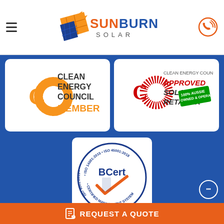[Figure (logo): Sunburn Solar logo with hamburger menu and phone icon in header]
[Figure (logo): Clean Energy Council Member badge]
[Figure (logo): Clean Energy Council Approved Solar Retailer badge with 100% Aussie Owned & Operated stamp]
[Figure (logo): BCert ISO 9001:2015, ISO 14001:2015, ISO 45001:2018 Certified Management System badge]
© 2022 sunburnsolar.com.au. All rights reserved.
Powered by:
REQUEST A QUOTE